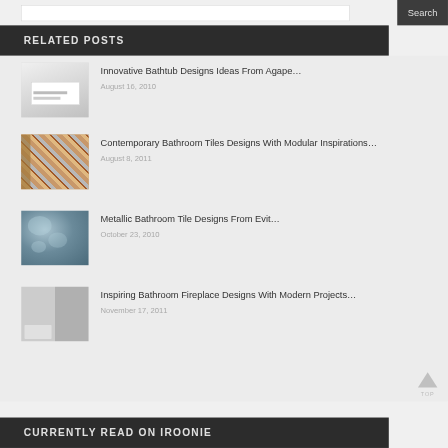Search
RELATED POSTS
Innovative Bathtub Designs Ideas From Agape…
August 16, 2010
Contemporary Bathroom Tiles Designs With Modular Inspirations…
August 8, 2011
Metallic Bathroom Tile Designs From Evit…
October 23, 2010
Inspiring Bathroom Fireplace Designs With Modern Projects…
November 17, 2011
CURRENTLY READ ON IROONIE